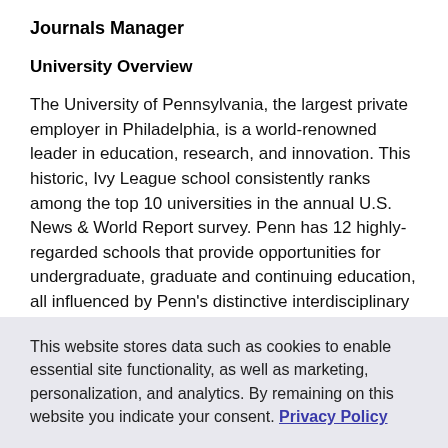Journals Manager
University Overview
The University of Pennsylvania, the largest private employer in Philadelphia, is a world-renowned leader in education, research, and innovation. This historic, Ivy League school consistently ranks among the top 10 universities in the annual U.S. News & World Report survey. Penn has 12 highly-regarded schools that provide opportunities for undergraduate, graduate and continuing education, all influenced by Penn's distinctive interdisciplinary approach to scholarship and learning. As an employer Penn has been ranked nationally on many occasions with the most recent award from Forbes who
This website stores data such as cookies to enable essential site functionality, as well as marketing, personalization, and analytics. By remaining on this website you indicate your consent. Privacy Policy